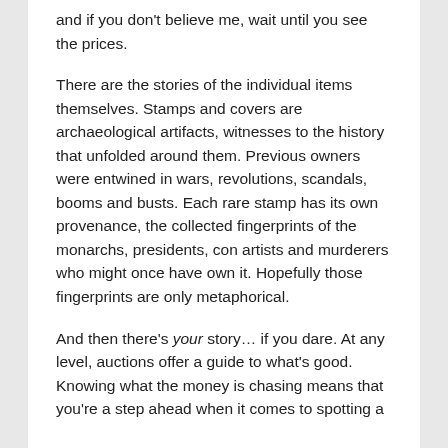and if you don't believe me, wait until you see the prices.
There are the stories of the individual items themselves. Stamps and covers are archaeological artifacts, witnesses to the history that unfolded around them. Previous owners were entwined in wars, revolutions, scandals, booms and busts. Each rare stamp has its own provenance, the collected fingerprints of the monarchs, presidents, con artists and murderers who might once have own it. Hopefully those fingerprints are only metaphorical.
And then there's your story… if you dare. At any level, auctions offer a guide to what's good. Knowing what the money is chasing means that you're a step ahead when it comes to spotting a